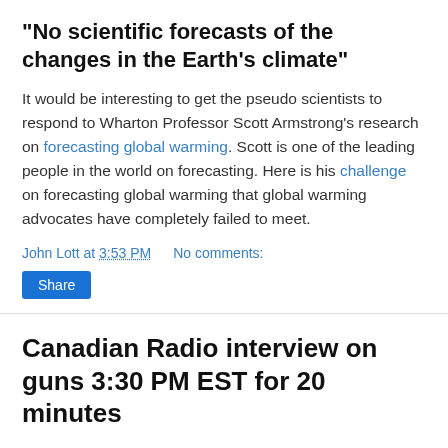"No scientific forecasts of the changes in the Earth's climate"
It would be interesting to get the pseudo scientists to respond to Wharton Professor Scott Armstrong's research on forecasting global warming. Scott is one of the leading people in the world on forecasting. Here is his challenge on forecasting global warming that global warming advocates have completely failed to meet.
John Lott at 3:53 PM    No comments:
Canadian Radio interview on guns 3:30 PM EST for 20 minutes
Roy Green Show, Corus Radio Network with host Michael Smyth. I will be on for 20 minutes.